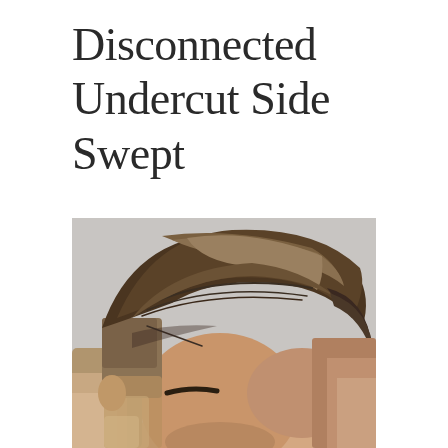Disconnected Undercut Side Swept
[Figure (photo): Close-up photo of a man's head showing a disconnected undercut side swept hairstyle. The top hair is long, voluminous, and swept to the side with brown tones, while the sides are closely shaved with a hard line/razor part detail and a skin fade on the lower sides.]